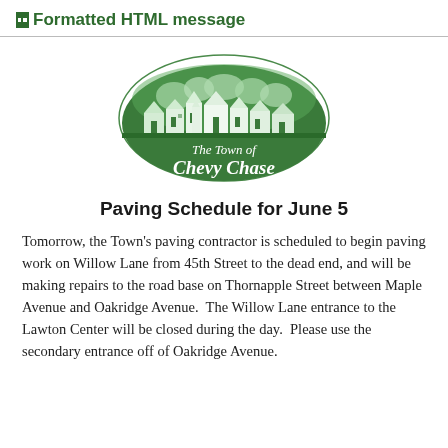Formatted HTML message
[Figure (logo): The Town of Chevy Chase oval green logo with silhouette of houses and trees]
Paving Schedule for June 5
Tomorrow, the Town's paving contractor is scheduled to begin paving work on Willow Lane from 45th Street to the dead end, and will be making repairs to the road base on Thornapple Street between Maple Avenue and Oakridge Avenue.  The Willow Lane entrance to the Lawton Center will be closed during the day.  Please use the secondary entrance off of Oakridge Avenue.